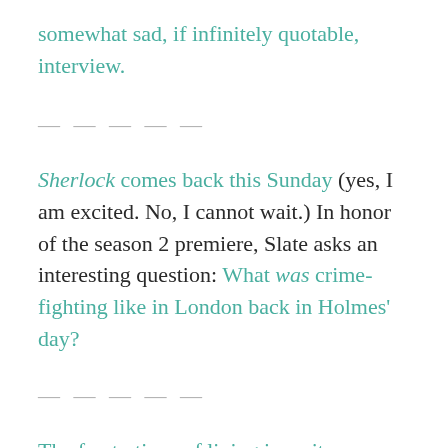somewhat sad, if infinitely quotable, interview.
— — — — —
Sherlock comes back this Sunday (yes, I am excited. No, I cannot wait.) In honor of the season 2 premiere, Slate asks an interesting question: What was crime-fighting like in London back in Holmes' day?
— — — — —
The frustrations of living in a city, distilled.